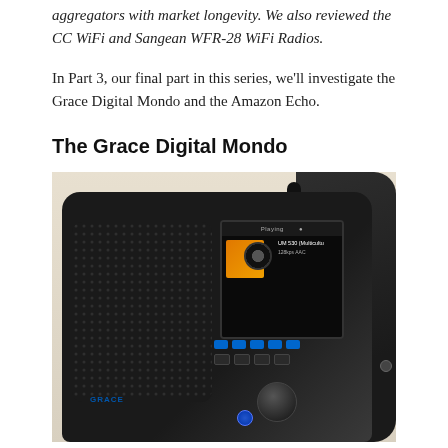aggregators with market longevity. We also reviewed the CC WiFi and Sangean WFR-28 WiFi Radios.
In Part 3, our final part in this series, we'll investigate the Grace Digital Mondo and the Amazon Echo.
The Grace Digital Mondo
[Figure (photo): Photo of the Grace Digital Mondo WiFi radio, a black tabletop internet radio with a color LCD screen showing a station playing, a large tuning knob, speaker grill on the left, antenna on top, and a blue power button.]